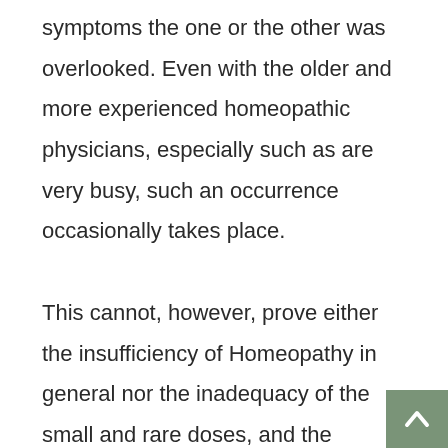beginners, because in examining the symptoms the one or the other was overlooked. Even with the older and more experienced homeopathic physicians, especially such as are very busy, such an occurrence occasionally takes place.

This cannot, however, prove either the insufficiency of Homeopathy in general nor the inadequacy of the small and rare doses, and the experienced practitioner, who always looks with suspicion on such